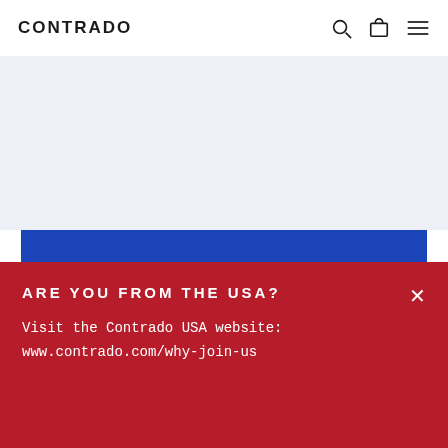CONTRADO
[Figure (photo): Product photo of a custom printed bag/backpack with floral pattern in blue, orange, and white, photographed against a royal blue background]
ARE YOU FROM THE USA?
Visit the Contrado USA website:
www.contrado.com/why-join-us